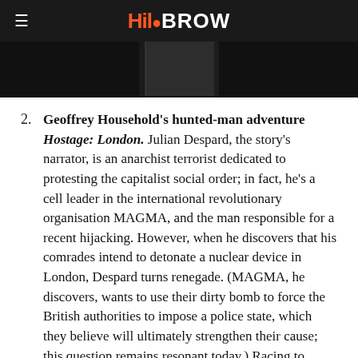HiloBROW
[Figure (photo): Partial view of a dark book cover shown at the top of the page against a dark background]
Geoffrey Household's hunted-man adventure Hostage: London. Julian Despard, the story's narrator, is an anarchist terrorist dedicated to protesting the capitalist social order; in fact, he's a cell leader in the international revolutionary organisation MAGMA, and the man responsible for a recent hijacking. However, when he discovers that his comrades intend to detonate a nuclear device in London, Despard turns renegade. (MAGMA, he discovers, wants to use their dirty bomb to force the British authorities to impose a police state, which they believe will ultimately strengthen their cause; this question remains resonant today.) Racing to locate and disarm the bomb, Despard enlists some of his fellow